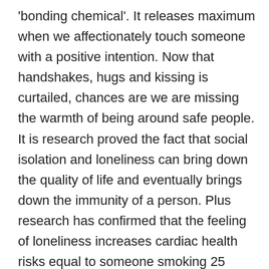'bonding chemical'. It releases maximum when we affectionately touch someone with a positive intention. Now that handshakes, hugs and kissing is curtailed, chances are we are missing the warmth of being around safe people. It is research proved the fact that social isolation and loneliness can bring down the quality of life and eventually brings down the immunity of a person. Plus research has confirmed that the feeling of loneliness increases cardiac health risks equal to someone smoking 25 cigarettes a day! In these times of home confinement, make use of video calls, phone calls and stay in touch with your loved ones. Research confirms that just by hearing the voice of your